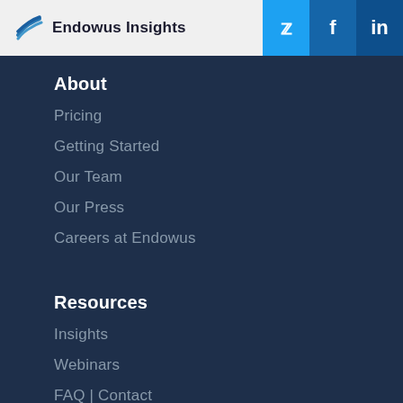Endowus Insights
About
Pricing
Getting Started
Our Team
Our Press
Careers at Endowus
Resources
Insights
Webinars
FAQ | Contact
Investing 101
Appointed Representatives